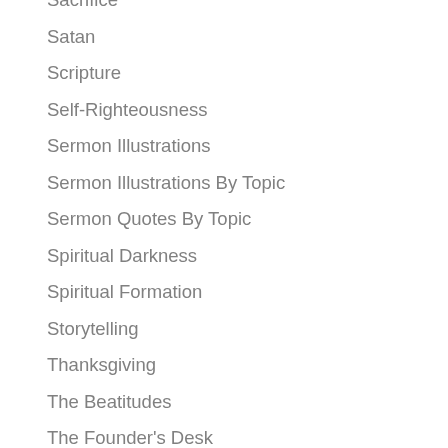Sacrifice
Satan
Scripture
Self-Righteousness
Sermon Illustrations
Sermon Illustrations By Topic
Sermon Quotes By Topic
Spiritual Darkness
Spiritual Formation
Storytelling
Thanksgiving
The Beatitudes
The Founder's Desk
Third Third of Life
Uncategorized